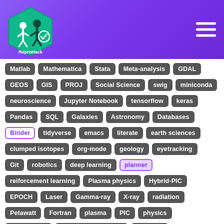[Figure (logo): ReproHack hexagonal logo with teal background and white figure, plus hamburger menu icon on purple gradient header]
Matlab, Mathematica, Stata, Meta-analysis, GDAL
GEOS, GIS, PROJ, Social Science, swig, miniconda
neuroscience, Jupyter Notebook, tensorflow, keras
Pandas, SQL, Galaxies, Astronomy, Databases
Binder, tidyverse, emacs, literate, earth sciences
clumped isotopes, org-mode, geology, eyetracking
Git, robotics, deep learning, planner
reiforcement learning, Plasma physics, Hybrid-PIC
EPOCH, Laser, Gamma-ray, X-ray, radiation
Petawatt, Fortran, plasma, PIC, physics
Monte Carlo, Atomistic Simulation, LAMMPS
Electron Transport, DFT, descriptors
interatomic potentials, machine learning